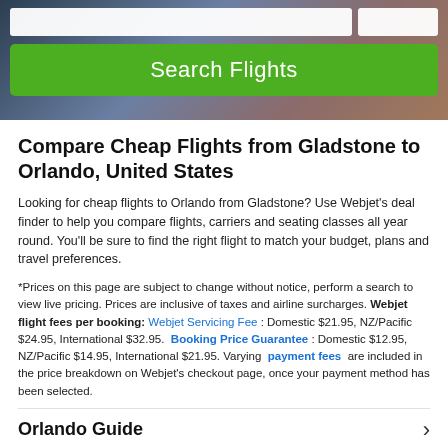[Figure (screenshot): Hero banner with dark blue/purple background showing a search interface. A 'Search Flights' green button is visible in the center of the hero area.]
Compare Cheap Flights from Gladstone to Orlando, United States
Looking for cheap flights to Orlando from Gladstone? Use Webjet's deal finder to help you compare flights, carriers and seating classes all year round. You'll be sure to find the right flight to match your budget, plans and travel preferences.
*Prices on this page are subject to change without notice, perform a search to view live pricing. Prices are inclusive of taxes and airline surcharges. Webjet flight fees per booking: Webjet Servicing Fee: Domestic $21.95, NZ/Pacific $24.95, International $32.95. Booking Price Guarantee: Domestic $12.95, NZ/Pacific $14.95, International $21.95. Varying payment fees are included in the price breakdown on Webjet's checkout page, once your payment method has been selected.
Orlando Guide